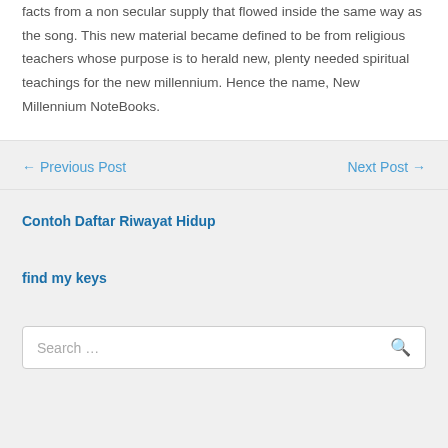facts from a non secular supply that flowed inside the same way as the song. This new material became defined to be from religious teachers whose purpose is to herald new, plenty needed spiritual teachings for the new millennium. Hence the name, New Millennium NoteBooks.
← Previous Post
Next Post →
Contoh Daftar Riwayat Hidup
find my keys
Search …